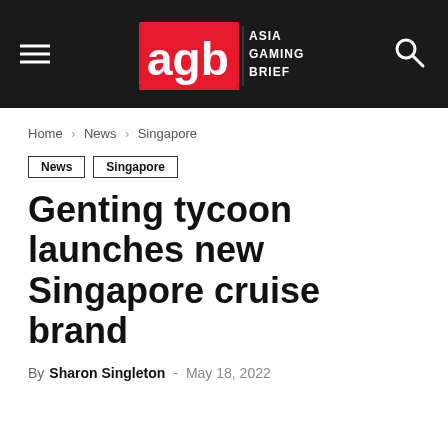AGB Asia Gaming Brief — Navigation header with menu and search icons
Home › News › Singapore
News   Singapore
Genting tycoon launches new Singapore cruise brand
By Sharon Singleton - May 18, 2022